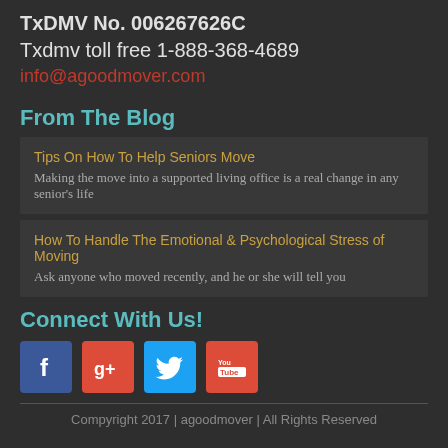TxDMV No. 006267626C
Txdmv toll free 1-888-368-4689
info@agoodmover.com
From The Blog
Tips On How To Help Seniors Move
Making the move into a supported living office is a real change in any senior's life
How To Handle The Emotional & Psychological Stress of Moving
Ask anyone who moved recently, and he or she will tell you
Connect With Us!
[Figure (infographic): Social media icons: Facebook (blue), Google+ (red), Twitter (light blue), YouTube (red)]
Compyright 2017 | agoodmover | All Rights Reserved